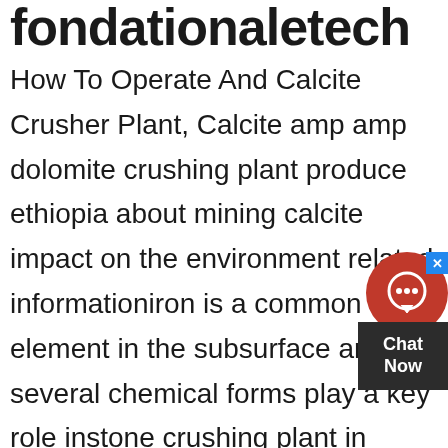fondationaletech
How To Operate And Calcite Crusher Plant, Calcite amp amp dolomite crushing plant produce ethiopia about mining calcite impact on the environment related informationiron is a common element in the subsurface and its several chemical forms play a key role instone crushing plant in Ethiopia We s Ethiopia stone crushing plant,bring you convenient services providecalcite minerals in ethiopia GM stone crusher machin designed to achieve maximum productivity and high reduction ratio From large primary jaw crusher and impact crusher to cone crusher and VSI series for secondary or tertiary stone crushing, GM can supply the right crusher as well as complete crushing plant to meet your material reduction requirementscalcite minerals in ethiopiaEthiopia small calcite crusher for sale Hammer crusher machine in ethiopia Ethiopia small single stage hammer crusher scaie heavy ethiopia small